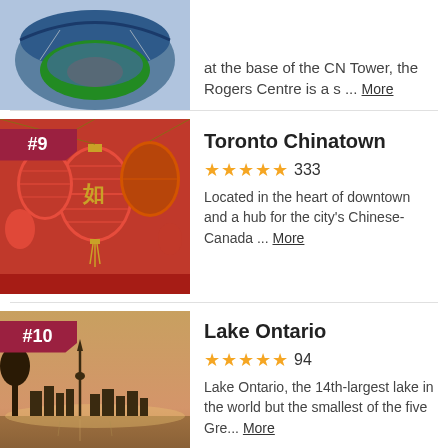[Figure (photo): Aerial view of Rogers Centre stadium, cropped at top]
at the base of the CN Tower, the Rogers Centre is a s … More
[Figure (photo): Red Chinese lanterns hanging in Toronto Chinatown, ranked #9]
Toronto Chinatown
333 reviews, 5 stars
Located in the heart of downtown and a hub for the city's Chinese-Canada … More
[Figure (photo): Lake Ontario with Toronto skyline and CN Tower silhouette at dusk, ranked #10]
Lake Ontario
94 reviews, 5 stars
Lake Ontario, the 14th-largest lake in the world but the smallest of the five Gre … More